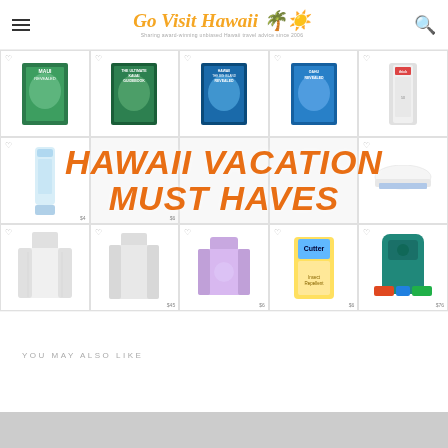Go Visit Hawaii — Sharing award-winning unbiased Hawaii travel advice since 2006
[Figure (infographic): Hawaii Vacation Must Haves product collage showing travel guidebooks (Maui Revealed, Ultimate Kauai Guidebook, Hawaii The Big Island Revealed, Oahu Revealed), sunscreen/lotion products, hat, clothing items (jacket, long-sleeve shirt, purple t-shirt), Cutter bug spray, and a teal backpack with colorful straps. Large orange bold italic overlay text reads 'HAWAII VACATION MUST HAVES'.]
YOU MAY ALSO LIKE